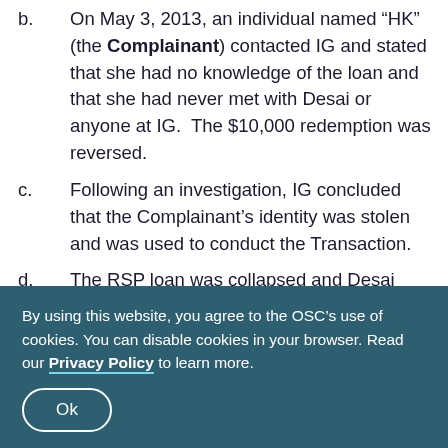b. On May 3, 2013, an individual named “HK” (the Complainant) contacted IG and stated that she had no knowledge of the loan and that she had never met with Desai or anyone at IG.  The $10,000 redemption was reversed.
c. Following an investigation, IG concluded that the Complainant’s identity was stolen and was used to conduct the Transaction.
d. The RSP loan was collapsed and Desai was required to pay interest costs and to return the commission earned.  IG issued a warning letter to Desai.
By using this website, you agree to the OSC’s use of cookies. You can disable cookies in your browser. Read our Privacy Policy to learn more.